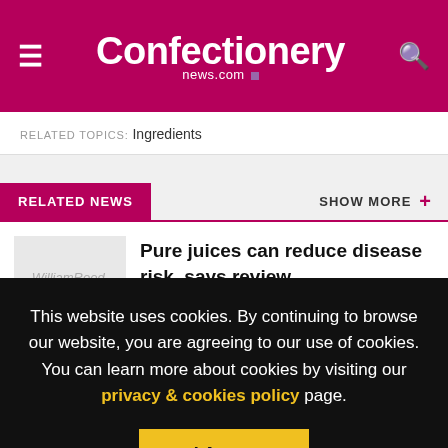Confectionery news.com
RELATED TOPICS: Ingredients
RELATED NEWS
SHOW MORE +
[Figure (logo): WilliamReed. placeholder logo image]
Pure juices can reduce disease risk, says review
This website uses cookies. By continuing to browse our website, you are agreeing to our use of cookies. You can learn more about cookies by visiting our privacy & cookies policy page.